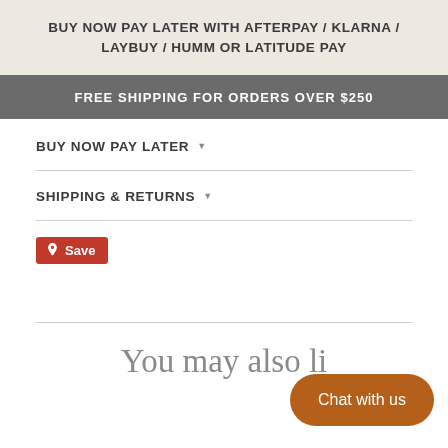BUY NOW PAY LATER WITH AFTERPAY / KLARNA / LAYBUY / HUMM OR LATITUDE PAY
FREE SHIPPING FOR ORDERS OVER $250
BUY NOW PAY LATER
SHIPPING & RETURNS
Save
You may also li…
Chat with us